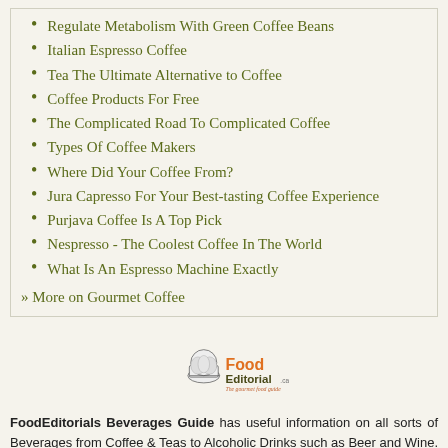Regulate Metabolism With Green Coffee Beans
Italian Espresso Coffee
Tea The Ultimate Alternative to Coffee
Coffee Products For Free
The Complicated Road To Complicated Coffee
Types Of Coffee Makers
Where Did Your Coffee From?
Jura Capresso For Your Best-tasting Coffee Experience
Purjava Coffee Is A Top Pick
Nespresso - The Coolest Coffee In The World
What Is An Espresso Machine Exactly
» More on Gourmet Coffee
[Figure (logo): FoodEditorial.ca logo with chef hat and text 'The gourmet food guide']
FoodEditorials Beverages Guide has useful information on all sorts of Beverages from Coffee & Teas to Alcoholic Drinks such as Beer and Wine. Also get tips on how to create fancy and creative Cocktails & Mocktails which will